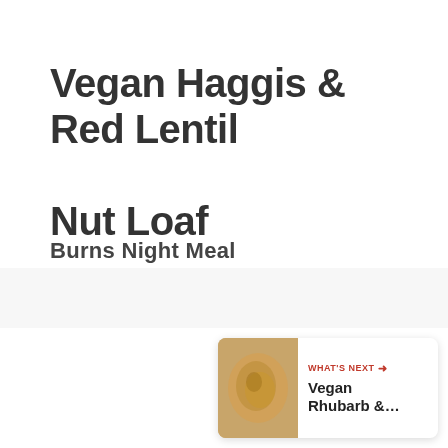Vegan Haggis & Red Lentil Nut Loaf
Burns Night Meal
[Figure (other): Red circular like/heart button with heart icon, like count '3', and a share button below]
[Figure (other): WHAT'S NEXT panel with thumbnail image and text 'Vegan Rhubarb &...']